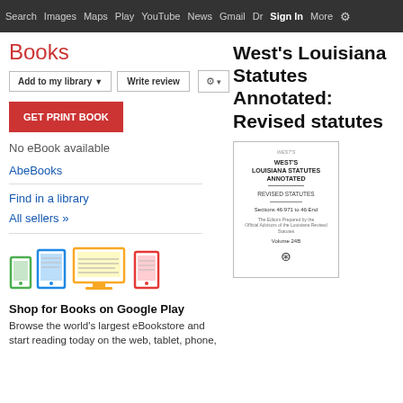Search  Images  Maps  Play  YouTube  News  Gmail  Drive  More  Sign In  ⚙
Books
Add to my library  ▼   Write review   ⚙ ▾
GET PRINT BOOK
No eBook available
AbeBooks
Find in a library
All sellers »
[Figure (illustration): Icons of devices: phone, tablet, laptop, monitor, e-reader representing Google Play Books on multiple devices]
Shop for Books on Google Play
Browse the world's largest eBookstore and start reading today on the web, tablet, phone,
West's Louisiana Statutes Annotated: Revised statutes
[Figure (photo): Book cover of West's Louisiana Statutes Annotated: Revised Statutes, Volume 24B, Sections 46:971 to 46:End, published by West Group]